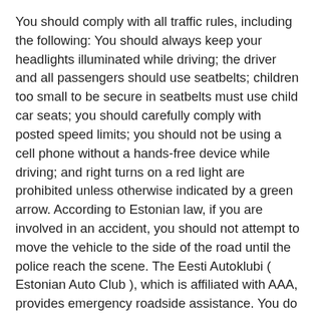You should comply with all traffic rules, including the following: You should always keep your headlights illuminated while driving; the driver and all passengers should use seatbelts; children too small to be secure in seatbelts must use child car seats; you should carefully comply with posted speed limits; you should not be using a cell phone without a hands-free device while driving; and right turns on a red light are prohibited unless otherwise indicated by a green arrow. According to Estonian law, if you are involved in an accident, you should not attempt to move the vehicle to the side of the road until the police reach the scene. The Eesti Autoklubi ( Estonian Auto Club ), which is affiliated with AAA, provides emergency roadside assistance. You do not need to be a member to receive assistance, although fees are lower for members. To request roadside assistance or towing service, dial 1888. For ambulance or fire assistance the number is 112. For emergency police assistance, call 110. Please note